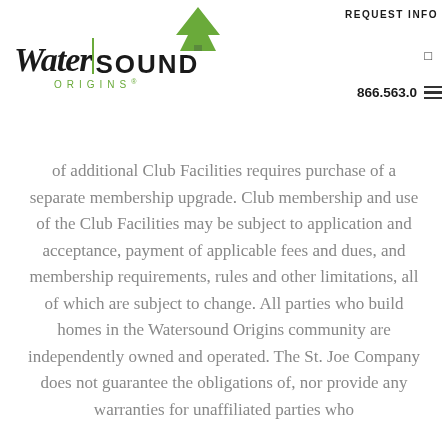REQUEST INFO  866.563.0  WaterSound Origins
of additional Club Facilities requires purchase of a separate membership upgrade. Club membership and use of the Club Facilities may be subject to application and acceptance, payment of applicable fees and dues, and membership requirements, rules and other limitations, all of which are subject to change. All parties who build homes in the Watersound Origins community are independently owned and operated. The St. Joe Company does not guarantee the obligations of, nor provide any warranties for unaffiliated parties who